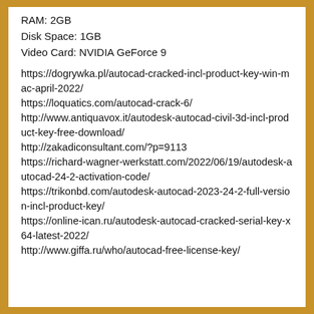RAM: 2GB
Disk Space: 1GB
Video Card: NVIDIA GeForce 9
https://dogrywka.pl/autocad-cracked-incl-product-key-win-mac-april-2022/
https://loquatics.com/autocad-crack-6/
http://www.antiquavox.it/autodesk-autocad-civil-3d-incl-product-key-free-download/
http://zakadiconsultant.com/?p=9113
https://richard-wagner-werkstatt.com/2022/06/19/autodesk-autocad-24-2-activation-code/
https://trikonbd.com/autodesk-autocad-2023-24-2-full-version-incl-product-key/
https://online-ican.ru/autodesk-autocad-cracked-serial-key-x64-latest-2022/
http://www.giffa.ru/who/autocad-free-license-key/